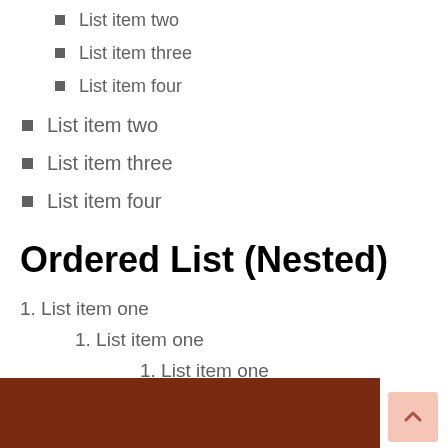List item two
List item three
List item four
List item two
List item three
List item four
Ordered List (Nested)
1. List item one
1. List item one
1. List item one
2. List item two
3. List item three
4. List item four
2. List item two
3. List item three